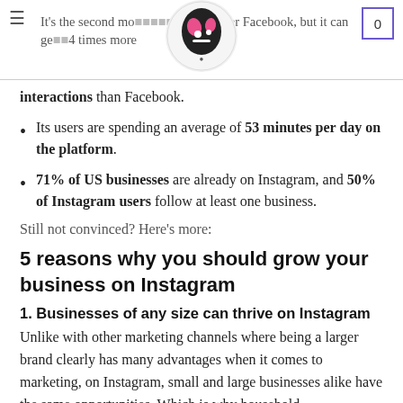It's the second most popular platform after Facebook, but it can get 4 times more interactions than Facebook.
interactions than Facebook.
Its users are spending an average of 53 minutes per day on the platform.
71% of US businesses are already on Instagram, and 50% of Instagram users follow at least one business.
Still not convinced? Here's more:
5 reasons why you should grow your business on Instagram
1. Businesses of any size can thrive on Instagram
Unlike with other marketing channels where being a larger brand clearly has many advantages when it comes to marketing, on Instagram, small and large businesses alike have the same opportunities. Which is why household